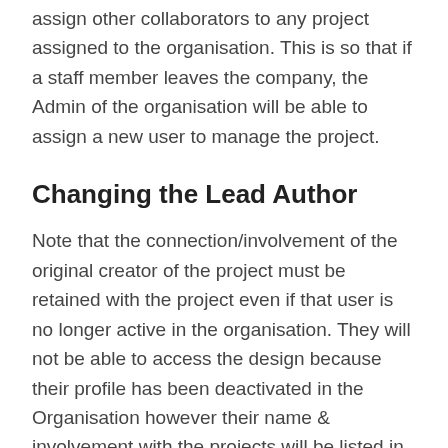assign other collaborators to any project assigned to the organisation. This is so that if a staff member leaves the company, the Admin of the organisation will be able to assign a new user to manage the project.
Changing the Lead Author
Note that the connection/involvement of the original creator of the project must be retained with the project even if that user is no longer active in the organisation. They will not be able to access the design because their profile has been deactivated in the Organisation however their name & involvement with the projects will be listed in the reports. This is for transparency in terms of declaring the history of the study.  Changing the original creator of the project to 'Not Involved' in the project will cause the Project to be removed from